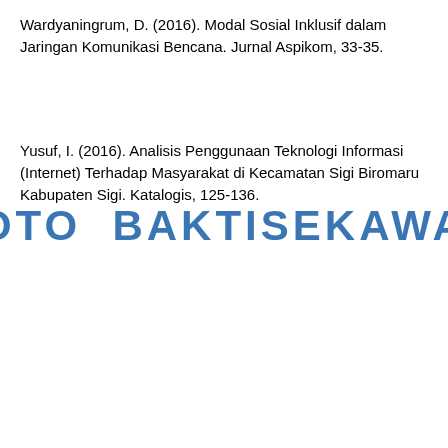Wardyaningrum, D. (2016). Modal Sosial Inklusif dalam Jaringan Komunikasi Bencana. Jurnal Aspikom, 33-35.
Yusuf, I. (2016). Analisis Penggunaan Teknologi Informasi (Internet) Terhadap Masyarakat di Kecamatan Sigi Biromaru Kabupaten Sigi. Katalogis, 125-136.
[Figure (other): Partially visible blue bold watermark text reading 'SOTO BAKTISEKAWAN' (or similar) cropped at the bottom of the page]